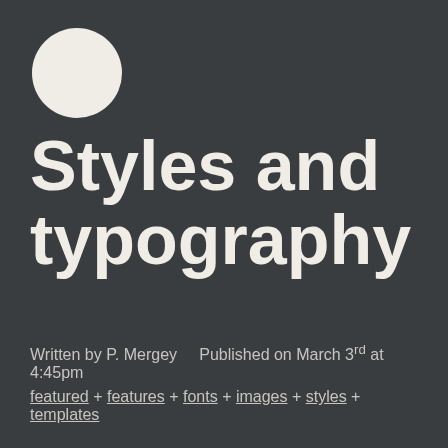[Figure (illustration): White filled circle in the upper left area of the page]
Styles and typography
Written by P. Mergey    Published on March 3rd at 4:45pm
featured + features + fonts + images + styles + templates